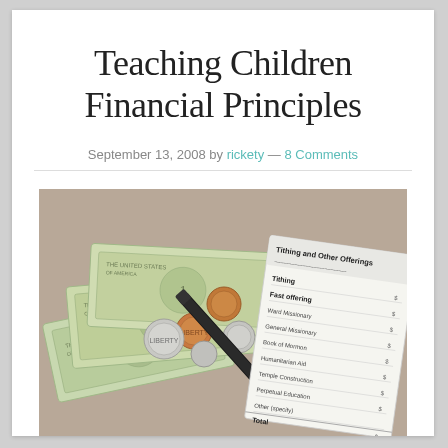Teaching Children Financial Principles
September 13, 2008 by rickety — 8 Comments
[Figure (photo): Photo of dollar bills, coins, a pen, and a tithing and other offerings form/slip on a light brown background]